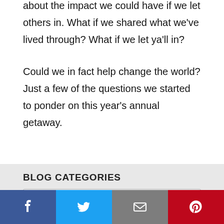about the impact we could have if we let others in. What if we shared what we've lived through? What if we let ya'll in?
Could we in fact help change the world? Just a few of the questions we started to ponder on this year's annual getaway.
BLOG CATEGORIES
Select Category
Facebook | Twitter | Email | Pinterest